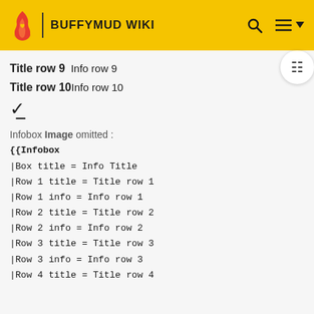BUFFYMUD WIKI
Title row 9  Info row 9
Title row 10 Info row 10
∨
Infobox Image omitted :
{{Infobox
|Box title = Info Title
|Row 1 title = Title row 1
|Row 1 info = Info row 1
|Row 2 title = Title row 2
|Row 2 info = Info row 2
|Row 3 title = Title row 3
|Row 3 info = Info row 3
|Row 4 title = Title row 4